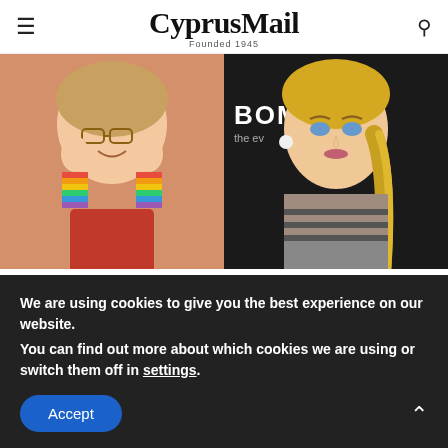CyprusMail — Founded 1945
[Figure (photo): Two-panel image: left panel shows a young girl with glasses and rainbow wristbands making a funny face; right panel shows a glamorous blonde adult woman at an event with 'BOMBA' text visible in background]
Brainberries
40 Child Stars Who Look Incredibly Gorgeous As Adults
We are using cookies to give you the best experience on our website.
You can find out more about which cookies we are using or switch them off in settings.